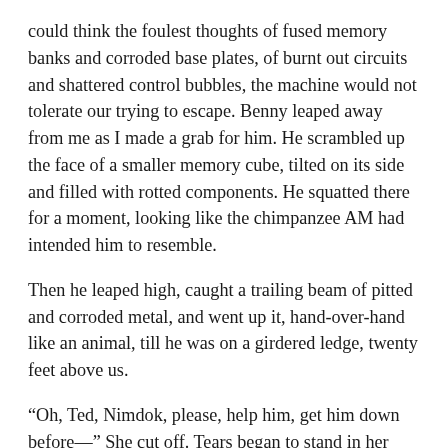could think the foulest thoughts of fused memory banks and corroded base plates, of burnt out circuits and shattered control bubbles, the machine would not tolerate our trying to escape. Benny leaped away from me as I made a grab for him. He scrambled up the face of a smaller memory cube, tilted on its side and filled with rotted components. He squatted there for a moment, looking like the chimpanzee AM had intended him to resemble.
Then he leaped high, caught a trailing beam of pitted and corroded metal, and went up it, hand-over-hand like an animal, till he was on a girdered ledge, twenty feet above us.
“Oh, Ted, Nimdok, please, help him, get him down before—” She cut off. Tears began to stand in her eyes. She moved her hands aimlessly.
It was too late. None of us wanted to be near him when whatever was going to happen, happened. And besides, we all saw through her concern. When AM had altered Benny, during the most recent major assault upon our minds and bodies,